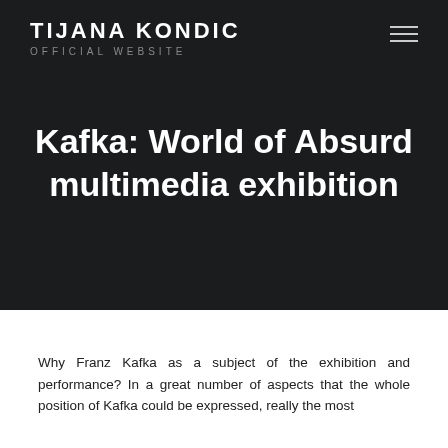TIJANA KONDIC OFFICIAL WEBSITE
Kafka: World of Absurd multimedia exhibition
Why Franz Kafka as a subject of the exhibition and performance? In a great number of aspects that the whole position of Kafka could be expressed, really the most